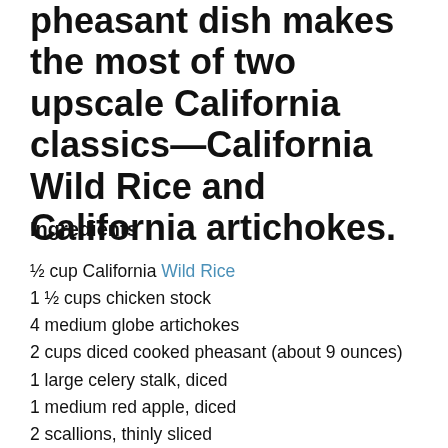pheasant dish makes the most of two upscale California classics—California Wild Rice and California artichokes.
Ingredients
½ cup California Wild Rice
1 ½ cups chicken stock
4 medium globe artichokes
2 cups diced cooked pheasant (about 9 ounces)
1 large celery stalk, diced
1 medium red apple, diced
2 scallions, thinly sliced
2 Tablespoons minced tarragon (or 2 teaspoons dried)
3 Tablespoons extra-virgin olive oil
2 Tablespoons red wine vinegar